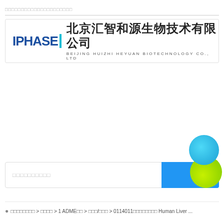□□□□□□□□□□□□□□□□□□□□□
[Figure (logo): IPHASE logo with Chinese company name 北京汇智和源生物技术有限公司 and English name BEIJING HUIZHI HEYUAN BIOTECHNOLOGY CO., LTD]
[Figure (illustration): Search bar with placeholder text and blue/green decorative circles]
□□□□□□□□ > □□□□ > 1 ADME□□ > □□□/□□□ > 0114011□□□□□□□□ Human Liver ...